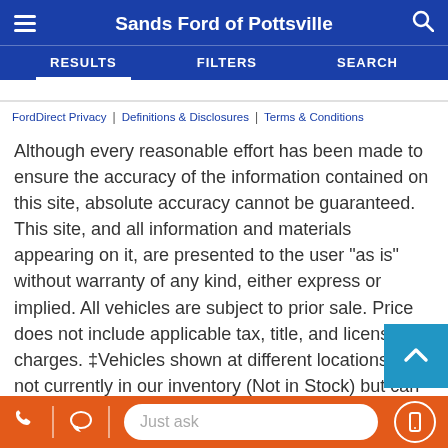Sands Ford of Pottsville
RESULTS | FILTERS | SEARCH
FordDirect Privacy | Definitions & Disclosures | Terms & Conditions
Although every reasonable effort has been made to ensure the accuracy of the information contained on this site, absolute accuracy cannot be guaranteed. This site, and all information and materials appearing on it, are presented to the user “as is” without warranty of any kind, either express or implied. All vehicles are subject to prior sale. Price does not include applicable tax, title, and license charges. ‡Vehicles shown at different locations are not currently in our inventory (Not in Stock) but can be made available to you at our location within a reasonable date from the time of your request, not to exceed one week.
Just ask